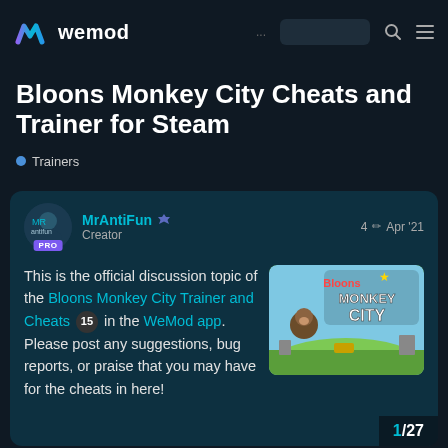wemod
Bloons Monkey City Cheats and Trainer for Steam
Trainers
MrAntiFun Creator  4  Apr '21
This is the official discussion topic of the Bloons Monkey City Trainer and Cheats 15 in the WeMod app. Please post any suggestions, bug reports, or praise that you may have for the cheats in here!
[Figure (screenshot): Bloons Monkey City game logo/artwork showing cartoon monkeys and colorful game title]
1/27